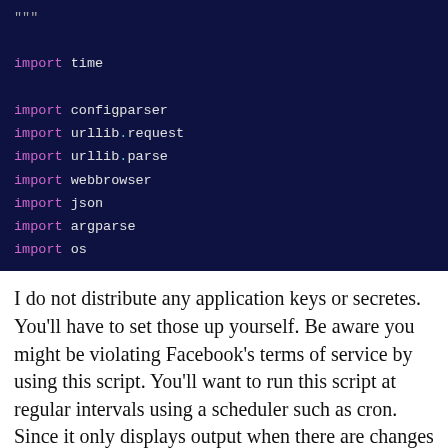[Figure (screenshot): Code editor screenshot showing Python import statements on a dark navy background. Lines include: """, import time, import configparser, import urllib.request, import urllib.parse, import webbrowser, import json, import argparse, import os]
I do not distribute any application keys or secretes. You'll have to set those up yourself. Be aware you might be violating Facebook's terms of service by using this script. You'll want to run this script at regular intervals using a scheduler such as cron. Since it only displays output when there are changes to your friends, you can combine it with my Ruby E-mail Script to send you e-mail notifications on changes.